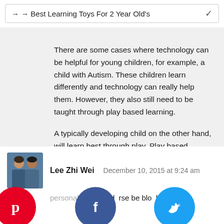→ → Best Learning Toys For 2 Year Old's
There are some cases where technology can be helpful for young children, for example, a child with Autism. These children learn differently and technology can really help them. However, they also still need to be taught through play based learning.
A typically developing child on the other hand, will learn best through play. Play based learning makes up the building blocks for skills required for future success.
Reply ↓
Lee Zhi Wei   December 10, 2015 at 9:24 am
personaly te would rse be blo has